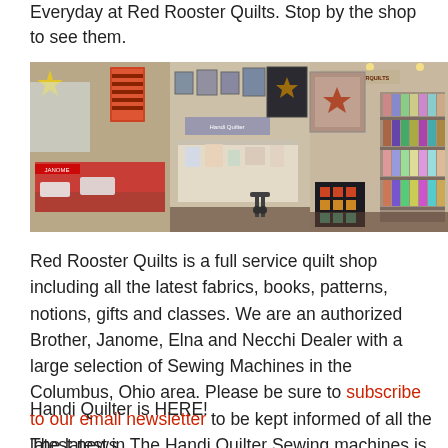Everyday at Red Rooster Quilts. Stop by the shop to see them.
[Figure (photo): Interior panoramic photo of Red Rooster Quilts shop showing quilts displayed on walls, sewing machines, fabric shelves, and display tables with products.]
Red Rooster Quilts is a full service quilt shop including all the latest fabrics, books, patterns, notions, gifts and classes. We are an authorized Brother, Janome, Elna and Necchi Dealer with a large selection of Sewing Machines in the Columbus, Ohio area. Please be sure to subscribe to our email newsletter to be kept informed of all the latest news.
Handi Quilter is HERE!
The latest in The Handi Quilter Sewing machines is here...